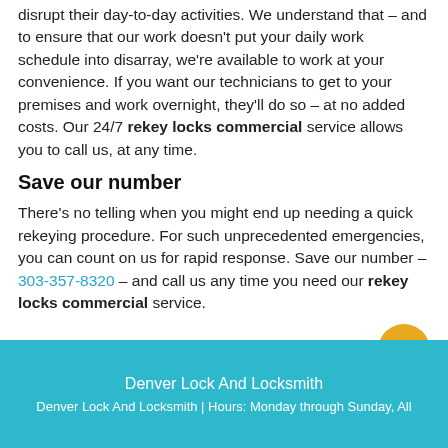disrupt their day-to-day activities. We understand that – and to ensure that our work doesn't put your daily work schedule into disarray, we're available to work at your convenience. If you want our technicians to get to your premises and work overnight, they'll do so – at no added costs. Our 24/7 rekey locks commercial service allows you to call us, at any time.
Save our number
There's no telling when you might end up needing a quick rekeying procedure. For such unprecedented emergencies, you can count on us for rapid response. Save our number – 303-357-8320 – and call us any time you need our rekey locks commercial service.
Denver Lock And Locksmith
Denver Lock And Locksmith | Hours: Monday through Sunday, All